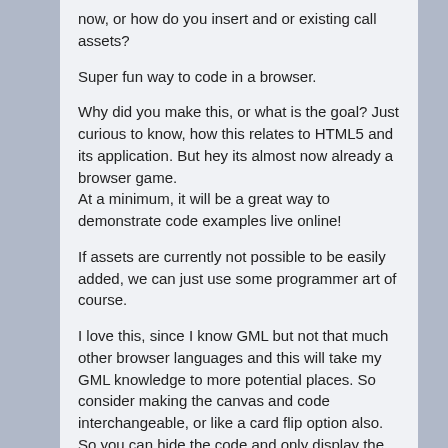now, or how do you insert and or existing call assets?
Super fun way to code in a browser.
Why did you make this, or what is the goal? Just curious to know, how this relates to HTML5 and its application. But hey its almost now already a browser game.
At a minimum, it will be a great way to demonstrate code examples live online!
If assets are currently not possible to be easily added, we can just use some programmer art of course.
I love this, since I know GML but not that much other browser languages and this will take my GML knowledge to more potential places. So consider making the canvas and code interchangeable, or like a card flip option also. So you can hide the code and only display the canvas area or frame… then it will have more application.
I could not test the 3d demos in chrome :(. The voxels sounds great.
Reply ↓
Marna Pronnen